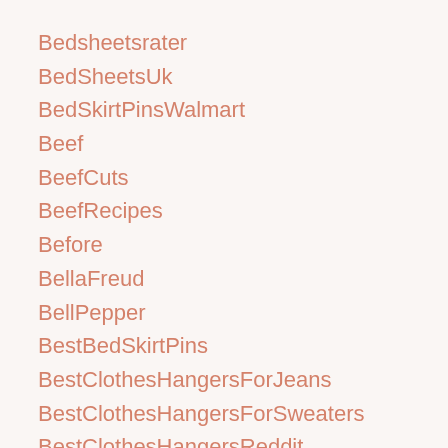Bedsheetsrater
BedSheetsUk
BedSkirtPinsWalmart
Beef
BeefCuts
BeefRecipes
Before
BellaFreud
BellPepper
BestBedSkirtPins
BestClothesHangersForJeans
BestClothesHangersForSweaters
BestClothesHangersReddit
BestClothesStores